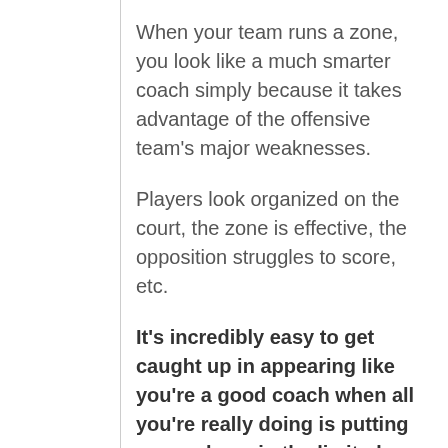When your team runs a zone, you look like a much smarter coach simply because it takes advantage of the offensive team's major weaknesses.
Players look organized on the court, the zone is effective, the opposition struggles to score, etc.
It's incredibly easy to get caught up in appearing like you're a good coach when all you're really doing is putting every player in the limited area that the opposition can shoot from and instructing them to stand there.
If you run a man-to-man defense, the defense doesn't look as organized, it's